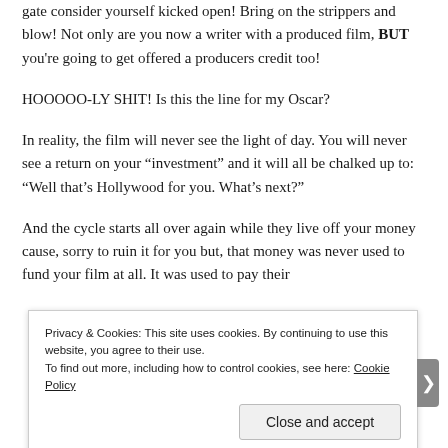gate consider yourself kicked open! Bring on the strippers and blow! Not only are you now a writer with a produced film, BUT you're going to get offered a producers credit too!
HOOOOO-LY SHIT! Is this the line for my Oscar?
In reality, the film will never see the light of day. You will never see a return on your “investment” and it will all be chalked up to: “Well that’s Hollywood for you. What’s next?”
And the cycle starts all over again while they live off your money cause, sorry to ruin it for you but, that money was never used to fund your film at all. It was used to pay their
Privacy & Cookies: This site uses cookies. By continuing to use this website, you agree to their use.
To find out more, including how to control cookies, see here: Cookie Policy
Close and accept